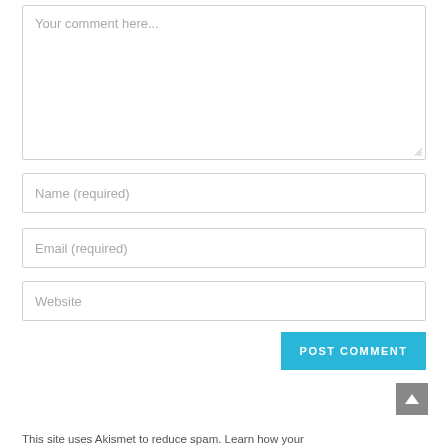Your comment here...
Name (required)
Email (required)
Website
POST COMMENT
This site uses Akismet to reduce spam. Learn how your